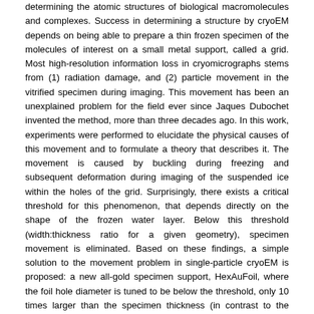determining the atomic structures of biological macromolecules and complexes. Success in determining a structure by cryoEM depends on being able to prepare a thin frozen specimen of the molecules of interest on a small metal support, called a grid. Most high-resolution information loss in cryomicrographs stems from (1) radiation damage, and (2) particle movement in the vitrified specimen during imaging. This movement has been an unexplained problem for the field ever since Jaques Dubochet invented the method, more than three decades ago. In this work, experiments were performed to elucidate the physical causes of this movement and to formulate a theory that describes it. The movement is caused by buckling during freezing and subsequent deformation during imaging of the suspended ice within the holes of the grid. Surprisingly, there exists a critical threshold for this phenomenon, that depends directly on the shape of the frozen water layer. Below this threshold (width:thickness ratio for a given geometry), specimen movement is eliminated. Based on these findings, a simple solution to the movement problem in single-particle cryoEM is proposed: a new all-gold specimen support, HexAuFoil, where the foil hole diameter is tuned to be below the threshold, only 10 times larger than the specimen thickness (in contrast to the typical factor of 100 in commercially available supports). Movement-free imaging increases the information content of cryoEM movies, increases the throughput of current microscopes, and reduces the computational demands on processing them. Movement-free imaging also allows for a new approach to cryoEM reconstruction from 2D images: zero-dose extrapolation. A program that uses a radiation damage model to calculate the 3D structure of the undamaged molecule, before the onset of radiation damage, from movement-free data is developed. In collaboration with